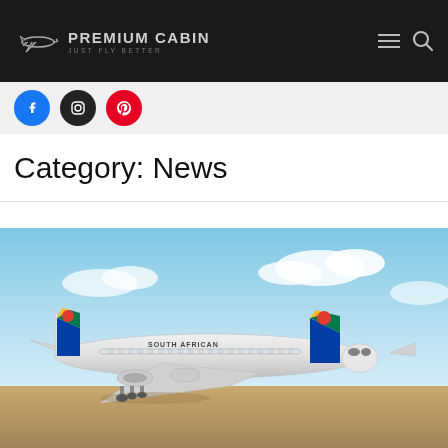PREMIUM CABIN — JUST FLY BETTER
[Figure (logo): Premium Cabin logo with stylized airplane and text 'PREMIUM CABIN / JUST FLY BETTER']
[Figure (infographic): Social media buttons: Facebook (blue), Instagram (black), Pinterest (red)]
Category: News
[Figure (photo): South African Airways Airbus aircraft parked on tarmac with blue sky and clouds in background. Aircraft shows South African flag livery on tail.]